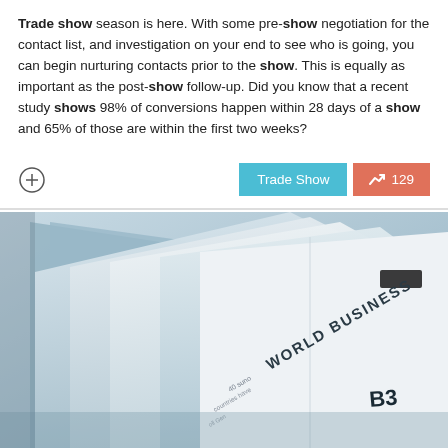Trade show season is here. With some pre-show negotiation for the contact list, and investigation on your end to see who is going, you can begin nurturing contacts prior to the show. This is equally as important as the post-show follow-up. Did you know that a recent study shows 98% of conversions happen within 28 days of a show and 65% of those are within the first two weeks?
[Figure (photo): Close-up photo of folded newspapers stacked together, with 'WORLD BUSINESS B3' visible on the pages]